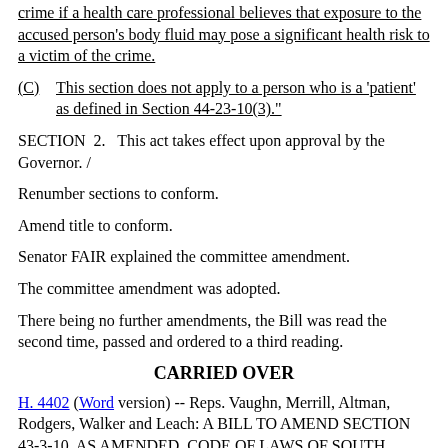crime if a health care professional believes that exposure to the accused person's body fluid may pose a significant health risk to a victim of the crime.
(C)   This section does not apply to a person who is a 'patient' as defined in Section 44-23-10(3)."
SECTION   2.   This act takes effect upon approval by the Governor. /
Renumber sections to conform.
Amend title to conform.
Senator FAIR explained the committee amendment.
The committee amendment was adopted.
There being no further amendments, the Bill was read the second time, passed and ordered to a third reading.
CARRIED OVER
H. 4402 (Word version) -- Reps. Vaughn, Merrill, Altman, Rodgers, Walker and Leach: A BILL TO AMEND SECTION 43-3-10, AS AMENDED, CODE OF LAWS OF SOUTH CAROLINA, 1976, RELATING TO COUNTY BOARDS OF SOCIAL